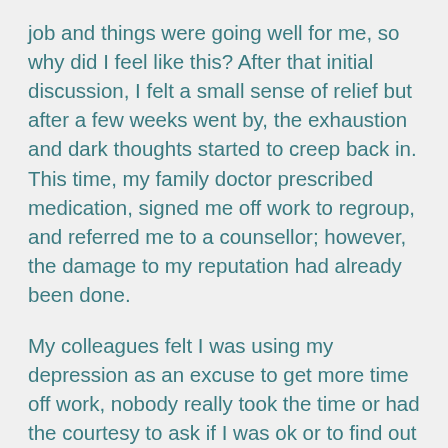job and things were going well for me, so why did I feel like this? After that initial discussion, I felt a small sense of relief but after a few weeks went by, the exhaustion and dark thoughts started to creep back in. This time, my family doctor prescribed medication, signed me off work to regroup, and referred me to a counsellor; however, the damage to my reputation had already been done.
My colleagues felt I was using my depression as an excuse to get more time off work, nobody really took the time or had the courtesy to ask if I was ok or to find out what was wrong. Talking with the counsellor helped me though, as did the group sessions held at the clinic. I learned that I wasn't on my own even though at times it felt that way. Once I began to open up, more and more people seemed to be comfortable to admit the challenges they'd been through. With their help, I was able to come off the medication and I